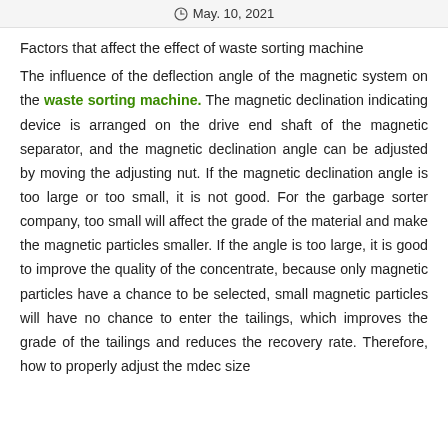May. 10, 2021
Factors that affect the effect of waste sorting machine
The influence of the deflection angle of the magnetic system on the waste sorting machine. The magnetic declination indicating device is arranged on the drive end shaft of the magnetic separator, and the magnetic declination angle can be adjusted by moving the adjusting nut. If the magnetic declination angle is too large or too small, it is not good. For the garbage sorter company, too small will affect the grade of the material and make the magnetic particles smaller. If the angle is too large, it is good to improve the quality of the concentrate, because only magnetic particles have a chance to be selected, small magnetic particles will have no chance to enter the tailings, which improves the grade of the tailings and reduces the recovery rate. Therefore, how to properly adjust the mdec size